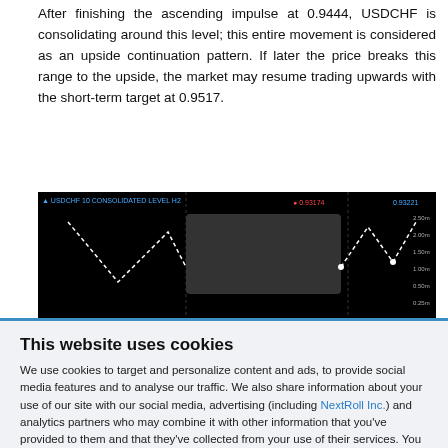After finishing the ascending impulse at 0.9444, USDCHF is consolidating around this level; this entire movement is considered as an upside continuation pattern. If later the price breaks this range to the upside, the market may resume trading upwards with the short-term target at 0.9517.
[Figure (screenshot): Financial trading chart showing USDCHF price movement on a black background with candlestick/wave pattern and price levels annotated.]
This website uses cookies
We use cookies to target and personalize content and ads, to provide social media features and to analyse our traffic. We also share information about your use of our site with our social media, advertising (including NextRoll Inc.) and analytics partners who may combine it with other information that you've provided to them and that they've collected from your use of their services. You consent to our cookies if you continue to use this website. Learn more
Allow
Disallow